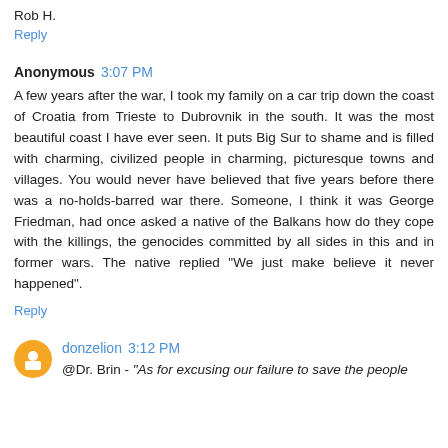Rob H.
Reply
Anonymous 3:07 PM
A few years after the war, I took my family on a car trip down the coast of Croatia from Trieste to Dubrovnik in the south. It was the most beautiful coast I have ever seen. It puts Big Sur to shame and is filled with charming, civilized people in charming, picturesque towns and villages. You would never have believed that five years before there was a no-holds-barred war there. Someone, I think it was George Friedman, had once asked a native of the Balkans how do they cope with the killings, the genocides committed by all sides in this and in former wars. The native replied "We just make believe it never happened".
Reply
donzelion 3:12 PM
@Dr. Brin - "As for excusing our failure to save the people